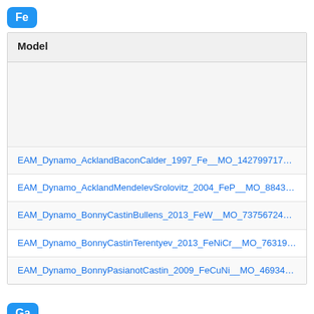Fe
| Model |
| --- |
| EAM_Dynamo_AcklandBaconCalder_1997_Fe__MO_142799717516_005 |
| EAM_Dynamo_AcklandMendelevSrolovitz_2004_FeP__MO_884343146310_ |
| EAM_Dynamo_BonnyCastinBullens_2013_FeW__MO_737567242631_000 |
| EAM_Dynamo_BonnyCastinTerentyev_2013_FeNiCr__MO_763197941039_0 |
| EAM_Dynamo_BonnyPasianotCastin_2009_FeCuNi__MO_469343973171_0 |
Ga
| Model |
| --- |